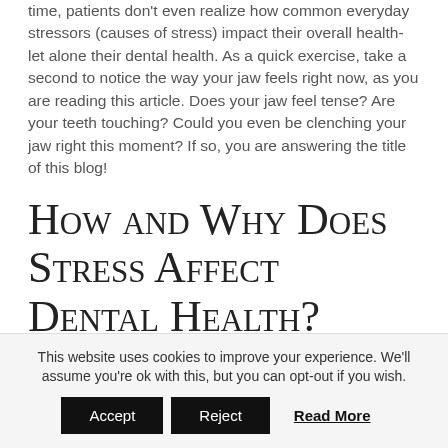time, patients don't even realize how common everyday stressors (causes of stress) impact their overall health- let alone their dental health. As a quick exercise, take a second to notice the way your jaw feels right now, as you are reading this article. Does your jaw feel tense? Are your teeth touching? Could you even be clenching your jaw right this moment? If so, you are answering the title of this blog!
How and Why Does Stress Affect Dental Health?
Why: When the body is in a state of distress, one of the first processes it goes through is tensing the muscles as an act of protecting itself from pain. Because of the tension, you may
This website uses cookies to improve your experience. We'll assume you're ok with this, but you can opt-out if you wish.